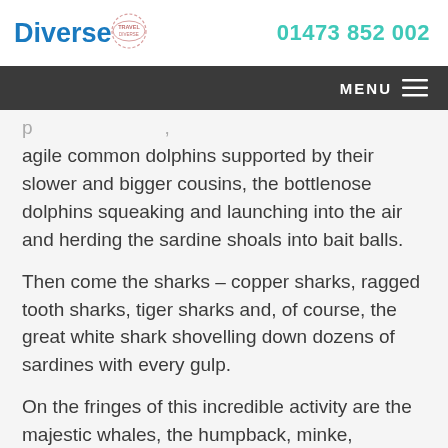[Figure (logo): Diverse Travel logo with blue bold text 'Diverse' and a circular travel badge stamp icon]
01473 852 002
MENU
agile common dolphins supported by their slower and bigger cousins, the bottlenose dolphins squeaking and launching into the air and herding the sardine shoals into bait balls.
Then come the sharks – copper sharks, ragged tooth sharks, tiger sharks and, of course, the great white shark shovelling down dozens of sardines with every gulp.
On the fringes of this incredible activity are the majestic whales, the humpback, minke,